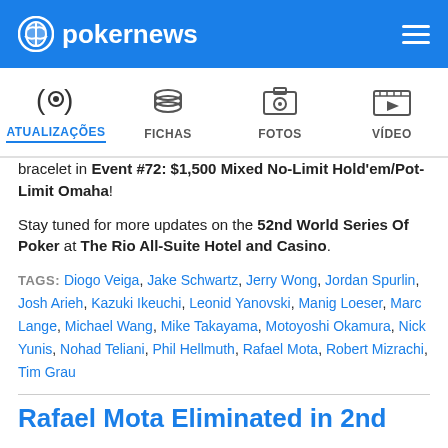pokernews
[Figure (screenshot): Navigation bar with icons for ATUALIZAÇÕES, FICHAS, FOTOS, VÍDEO]
bracelet in Event #72: $1,500 Mixed No-Limit Hold'em/Pot-Limit Omaha!
Stay tuned for more updates on the 52nd World Series Of Poker at The Rio All-Suite Hotel and Casino.
TAGS: Diogo Veiga, Jake Schwartz, Jerry Wong, Jordan Spurlin, Josh Arieh, Kazuki Ikeuchi, Leonid Yanovski, Manig Loeser, Marc Lange, Michael Wang, Mike Takayama, Motoyoshi Okamura, Nick Yunis, Nohad Teliani, Phil Hellmuth, Rafael Mota, Robert Mizrachi, Tim Grau
Rafael Mota Eliminated in 2nd